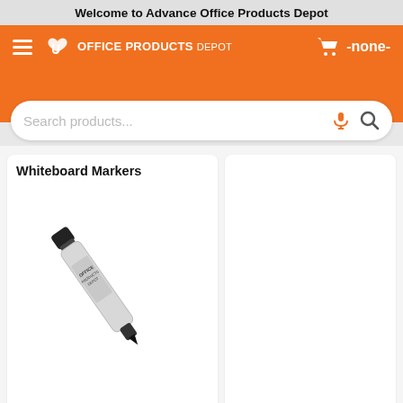Welcome to Advance Office Products Depot
[Figure (screenshot): Office Products Depot website header with orange navigation bar, hamburger menu, logo, cart icon showing -none-, and a search bar with placeholder text 'Search products...' with microphone and search icons.]
Whiteboard Markers
[Figure (photo): A whiteboard marker with white/gray barrel, black cap/tip, and Office Products Depot branding, shown diagonally.]
Hide subcategories